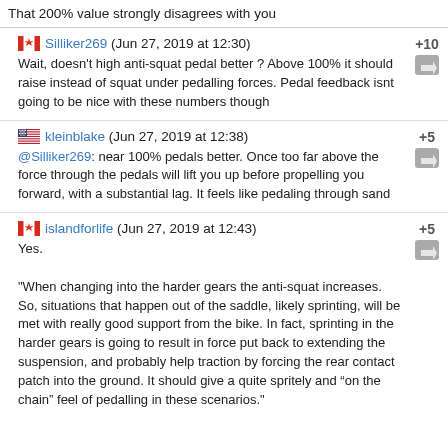That 200% value strongly disagrees with you
Silliker269 (Jun 27, 2019 at 12:30) +10
Wait, doesn't high anti-squat pedal better ? Above 100% it should raise instead of squat under pedalling forces. Pedal feedback isnt going to be nice with these numbers though
kleinblake (Jun 27, 2019 at 12:38) +5
@Silliker269: near 100% pedals better. Once too far above the force through the pedals will lift you up before propelling you forward, with a substantial lag. It feels like pedaling through sand
islandforlife (Jun 27, 2019 at 12:43) +5
Yes.

"When changing into the harder gears the anti-squat increases. So, situations that happen out of the saddle, likely sprinting, will be met with really good support from the bike. In fact, sprinting in the harder gears is going to result in force put back to extending the suspension, and probably help traction by forcing the rear contact patch into the ground. It should give a quite spritely and “on the chain” feel of pedalling in these scenarios."